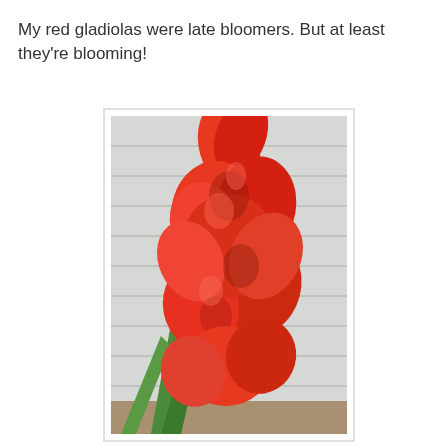My red gladiolas were late bloomers. But at least they're blooming!
[Figure (photo): Close-up photograph of red gladiola flowers in bloom, with green sword-shaped leaves visible at the lower left, against a white siding background.]